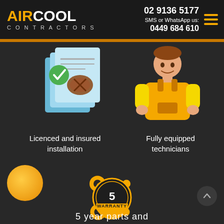[Figure (logo): AirCool Contractors logo — 'AIR' in yellow/orange bold text, 'COOL' in white bold text, 'CONTRACTORS' in grey spaced letters below]
02 9136 5177
SMS or WhatsApp us:
0449 684 610
[Figure (illustration): Illustration of a certified/stamped document with a green checkmark badge]
[Figure (illustration): Illustration of a technician/worker in orange uniform]
Licenced and insured installation
Fully equipped technicians
[Figure (illustration): 5 Year Warranty badge/emblem with wrench and tools icon in gold/orange colors]
5 year parts and